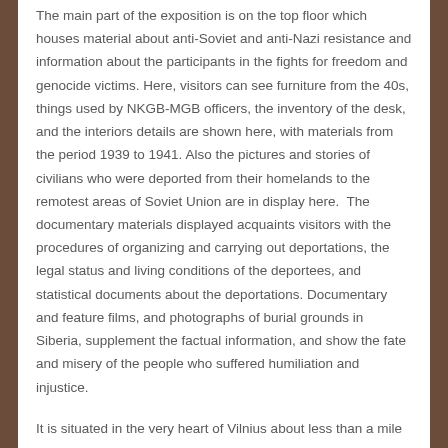The main part of the exposition is on the top floor which houses material about anti-Soviet and anti-Nazi resistance and information about the participants in the fights for freedom and genocide victims. Here, visitors can see furniture from the 40s, things used by NKGB-MGB officers, the inventory of the desk, and the interiors details are shown here, with materials from the period 1939 to 1941. Also the pictures and stories of civilians who were deported from their homelands to the remotest areas of Soviet Union are in display here.  The documentary materials displayed acquaints visitors with the procedures of organizing and carrying out deportations, the legal status and living conditions of the deportees, and statistical documents about the deportations. Documentary and feature films, and photographs of burial grounds in Siberia, supplement the factual information, and show the fate and misery of the people who suffered humiliation and injustice.
It is situated in the very heart of Vilnius about less than a mile